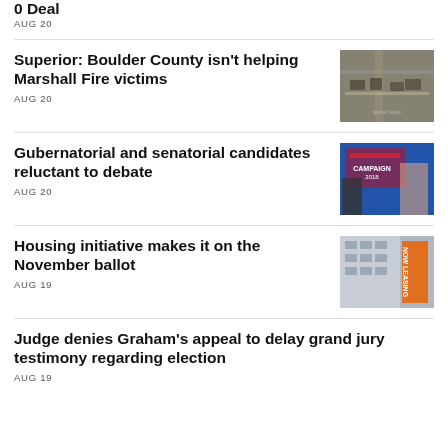0 Deal
AUG 20
Superior: Boulder County isn't helping Marshall Fire victims
AUG 20
[Figure (photo): Aerial view of fire damage, showing destroyed structures along a road]
Gubernatorial and senatorial candidates reluctant to debate
AUG 20
[Figure (photo): TV debate stage with candidates and a Campaign 2018 graphic on screen]
Housing initiative makes it on the November ballot
AUG 19
[Figure (photo): Building exterior with orange NOW LEASING banner]
Judge denies Graham's appeal to delay grand jury testimony regarding election
AUG 19